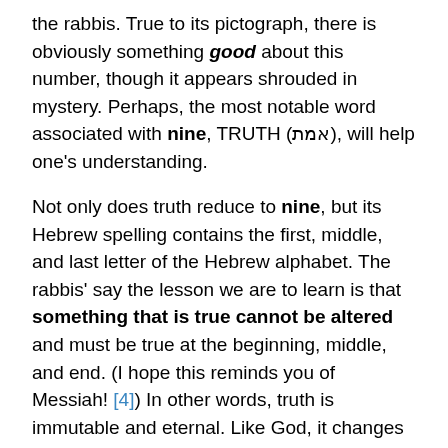the rabbis. True to its pictograph, there is obviously something good about this number, though it appears shrouded in mystery. Perhaps, the most notable word associated with nine, TRUTH (אמת), will help one's understanding.
Not only does truth reduce to nine, but its Hebrew spelling contains the first, middle, and last letter of the Hebrew alphabet. The rabbis' say the lesson we are to learn is that something that is true cannot be altered and must be true at the beginning, middle, and end. (I hope this reminds you of Messiah! [4]) In other words, truth is immutable and eternal. Like God, it changes not.[5] This author finds it fascinating that the number nine implies this reality in the natural through mathematics. Remember, every multiple of nine remains to be nine. It will not